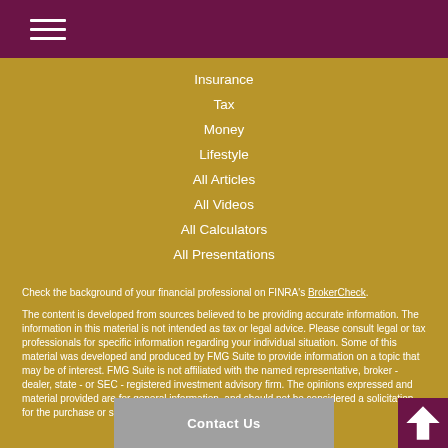Navigation menu header bar with hamburger icon
Insurance
Tax
Money
Lifestyle
All Articles
All Videos
All Calculators
All Presentations
Check the background of your financial professional on FINRA's BrokerCheck.
The content is developed from sources believed to be providing accurate information. The information in this material is not intended as tax or legal advice. Please consult legal or tax professionals for specific information regarding your individual situation. Some of this material was developed and produced by FMG Suite to provide information on a topic that may be of interest. FMG Suite is not affiliated with the named representative, broker - dealer, state - or SEC - registered investment advisory firm. The opinions expressed and material provided are for general information, and should not be considered a solicitation for the purchase or sale of any security.